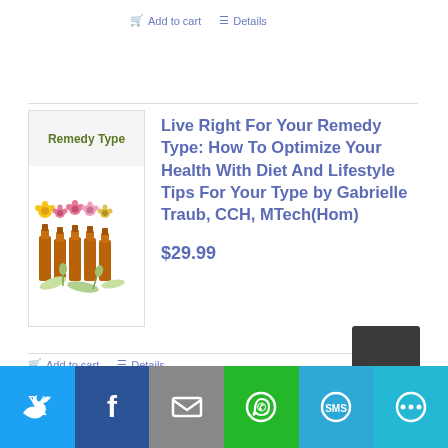Add to cart   Details
[Figure (illustration): Book cover for 'Live Right For Your Remedy Type' showing amber bottles with flowers]
Live Right For Your Remedy Type: How To Optimize Your Health With Diet And Lifestyle Tips For Your Type by Gabrielle Traub, CCH, MTech(Hom)
$29.99
Add to cart   Details
[Figure (infographic): Social sharing bar with Twitter, Facebook, Email, WhatsApp, SMS, and More buttons]